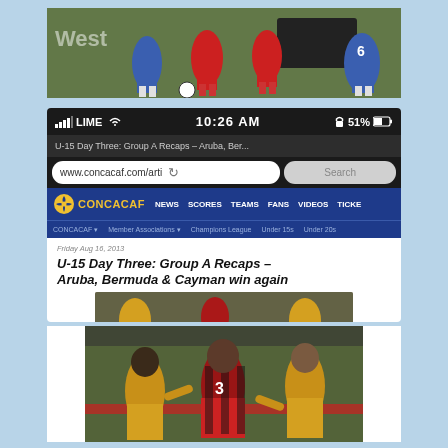[Figure (photo): Soccer match photo showing players in red and blue uniforms on a grass field]
[Figure (screenshot): Mobile phone screenshot showing CONCACAF website on iOS with LIME carrier, 10:26 AM, 51% battery. URL bar shows www.concacaf.com/arti. Page title: U-15 Day Three: Group A Recaps - Aruba, Ber... Navigation shows NEWS, SCORES, TEAMS, FANS, VIDEOS, TICKE. Sub-nav: CONCACAF, Member Associations, Champions League, Under 15s, Under 20s]
Friday Aug 16, 2013
U-15 Day Three: Group A Recaps – Aruba, Bermuda & Cayman win again
[Figure (photo): Soccer match photo showing young players in yellow and red/black uniforms competing for the ball]